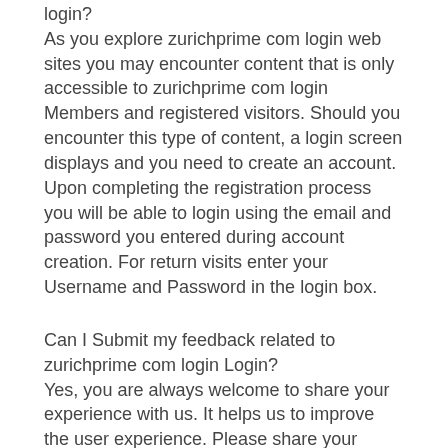login? As you explore zurichprime com login web sites you may encounter content that is only accessible to zurichprime com login Members and registered visitors. Should you encounter this type of content, a login screen displays and you need to create an account. Upon completing the registration process you will be able to login using the email and password you entered during account creation. For return visits enter your Username and Password in the login box.
Can I Submit my feedback related to zurichprime com login Login? Yes, you are always welcome to share your experience with us. It helps us to improve the user experience. Please share your experience with zurichprime com login Login or any suggestion with us via email, we really appreciate it.